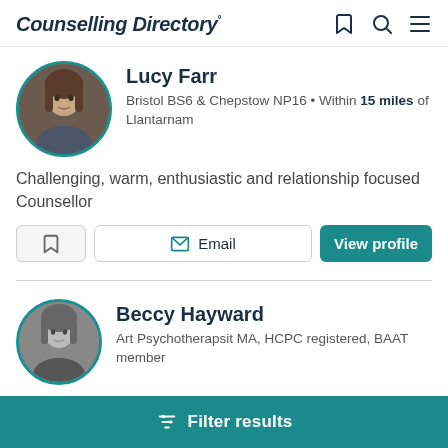Counselling Directory
Lucy Farr
Bristol BS6 & Chepstow NP16 • Within 15 miles of Llantarnam
Challenging, warm, enthusiastic and relationship focused Counsellor
[Figure (photo): Circular profile photo of Lucy Farr with teal border]
Bookmark | Email | View profile
Beccy Hayward
Art Psychotherapsit MA, HCPC registered, BAAT member
[Figure (photo): Circular profile photo of Beccy Hayward with teal border]
Filter results